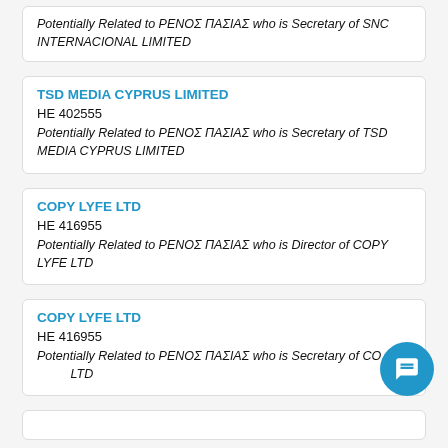Potentially Related to ΡΕΝΟΣ ΠΑΣΙΑΣ who is Secretary of SNC INTERNACIONAL LIMITED
TSD MEDIA CYPRUS LIMITED
HE 402555
Potentially Related to ΡΕΝΟΣ ΠΑΣΙΑΣ who is Secretary of TSD MEDIA CYPRUS LIMITED
COPY LYFE LTD
HE 416955
Potentially Related to ΡΕΝΟΣ ΠΑΣΙΑΣ who is Director of COPY LYFE LTD
COPY LYFE LTD
HE 416955
Potentially Related to ΡΕΝΟΣ ΠΑΣΙΑΣ who is Secretary of COPY LYFE LTD